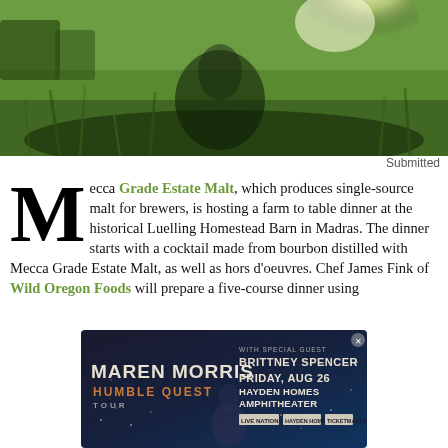[Figure (photo): Person crouching in a green field with sunlight in the background, farm buildings visible]
Submitted
Mecca Grade Estate Malt, which produces single-source malt for brewers, is hosting a farm to table dinner at the historical Luelling Homestead Barn in Madras. The dinner starts with a cocktail made from bourbon distilled with Mecca Grade Estate Malt, as well as hors d'oeuvres. Chef James Fink of Wild Oregon Foods will prepare a five-course dinner using
[Figure (advertisement): Concert advertisement for Maren Morris Humble Quest Tour with special guest Brittney Spencer, Friday Aug 26, Hayden Homes Amphitheater, Live Nation]